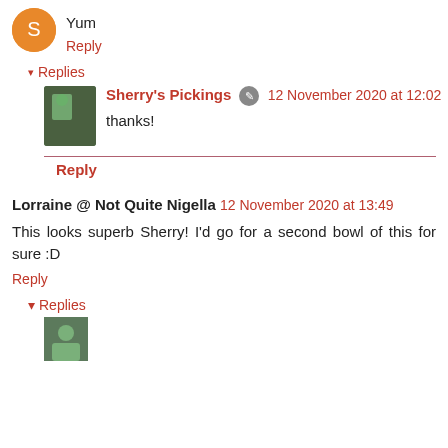Yum
Reply
Replies
Sherry's Pickings 12 November 2020 at 12:02
thanks!
Reply
Lorraine @ Not Quite Nigella 12 November 2020 at 13:49
This looks superb Sherry! I'd go for a second bowl of this for sure :D
Reply
Replies